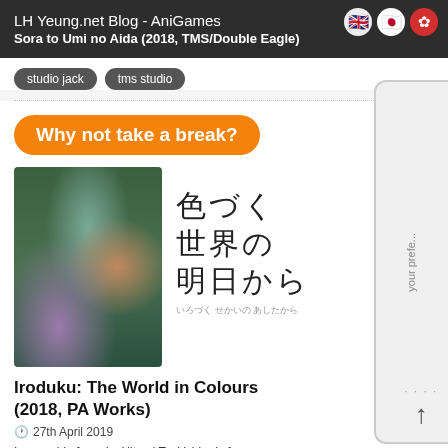LH Yeung.net Blog - AniGames
Sora to Umi no Aida (2018, TMS/Double Eagle)
studio jack
tms studio
Why not take a break?
[Figure (illustration): Anime cover art for Iroduku: The World in Colours showing group of anime characters with Japanese title text]
Iroduku: The World in Colours (2018, PA Works)
27th April 2019
In a world of magic, Hitomi Tsukishiro is from a family of mages in Nagasaki. She...